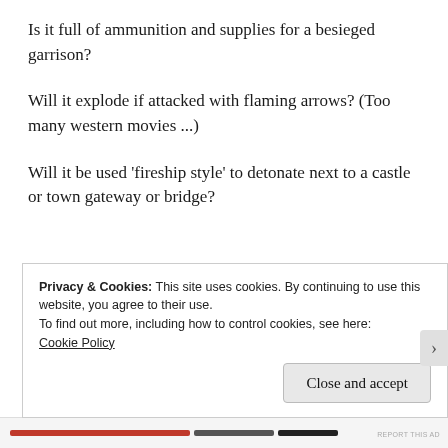Is it full of ammunition and supplies for a besieged garrison?
Will it explode if attacked with flaming arrows? (Too many western movies ...)
Will it be used ‘fireship style’ to detonate next to a castle or town gateway or bridge?
Privacy & Cookies: This site uses cookies. By continuing to use this website, you agree to their use.
To find out more, including how to control cookies, see here: Cookie Policy